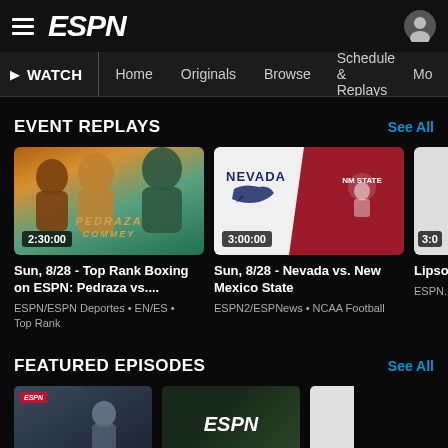ESPN - WATCH
EVENT REPLAYS
See All
[Figure (screenshot): Boxing promo thumbnail: Pedraza vs. Commey fighters, duration 2:30:00]
Sun, 8/28 - Top Rank Boxing on ESPN: Pedraza vs....
ESPN/ESPN Deportes • EN/ES • Top Rank
[Figure (screenshot): Nevada vs New Mexico State NCAA Football thumbnail with team logos, duration 3:00:00]
Sun, 8/28 - Nevada vs. New Mexico State
ESPN2/ESPNews • NCAA Football
[Figure (screenshot): Partial third card thumbnail, duration 3:0...]
Lipsc... Thom...
ESPN... Footba...
FEATURED EPISODES
See All
[Figure (screenshot): Featured episode thumbnail 1: football coach]
[Figure (screenshot): Featured episode thumbnail 2: ESPN logo on dark green background]
[Figure (screenshot): Featured episode thumbnail 3: partial white/gray]